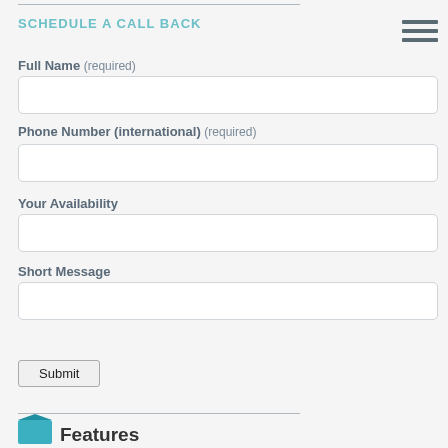SCHEDULE A CALL BACK
Full Name (required)
Phone Number (international) (required)
Your Availability
Short Message
Submit
Features